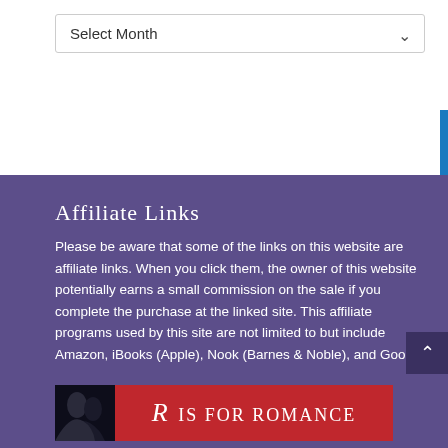[Figure (screenshot): Select Month dropdown UI element with blue scrollbar on the right]
Affiliate Links
Please be aware that some of the links on this website are affiliate links. When you click them, the owner of this website potentially earns a small commission on the sale if you complete the purchase at the linked site. This affiliate programs used by this site are not limited to but include Amazon, iBooks (Apple), Nook (Barnes & Noble), and Google.
[Figure (logo): R is for Romance banner logo with dark photo on left and red background with text on right]